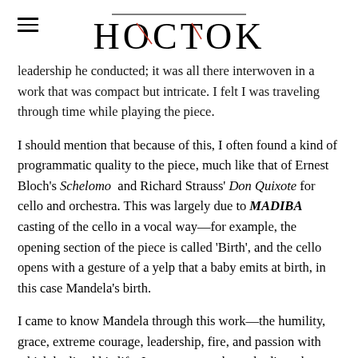HOCTOK
leadership he conducted; it was all there interwoven in a work that was compact but intricate. I felt I was traveling through time while playing the piece.
I should mention that because of this, I often found a kind of programmatic quality to the piece, much like that of Ernest Bloch's Schelomo and Richard Strauss' Don Quixote for cello and orchestra. This was largely due to MADIBA casting of the cello in a vocal way—for example, the opening section of the piece is called 'Birth', and the cello opens with a gesture of a yelp that a baby emits at birth, in this case Mandela's birth.
I came to know Mandela through this work—the humility, grace, extreme courage, leadership, fire, and passion with which he lived his life. In many ways, he embodies what, not only myself, but other artists strive to exhibit in playing an instrument and delivering artistry. I learned a great deal